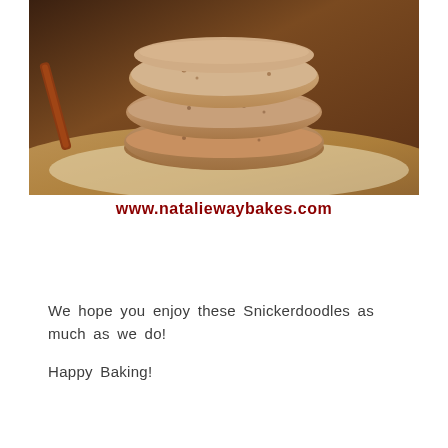[Figure (photo): Close-up photo of a stack of snickerdoodle cookies on a wooden surface with cinnamon sticks in the background]
www.nataliewaybakes.com
We hope you enjoy these Snickerdoodles as much as we do!
Happy Baking!